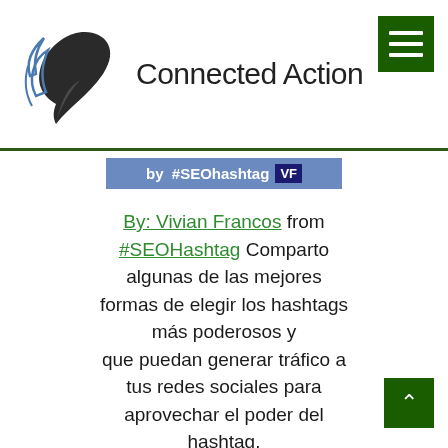[Figure (logo): Connected Action logo with stylized bird/pen graphic and text 'Connected Action']
[Figure (screenshot): Blue badge showing 'by #SEOhashtag VF']
By: Vivian Francos from #SEOHashtag Comparto algunas de las mejores formas de elegir los hashtags más poderosos y que puedan generar tráfico a tus redes sociales para aprovechar el poder del hashtag. Si quieres aumentar tus interacciones, debes aprender